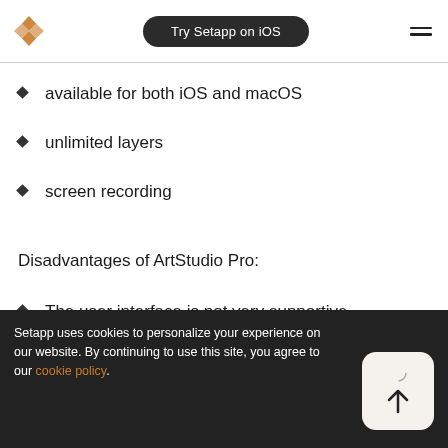Try Setapp on iOS
available for both iOS and macOS
unlimited layers
screen recording
Disadvantages of ArtStudio Pro:
The user interface is not very supportive
Setapp uses cookies to personalize your experience on our website. By continuing to use this site, you agree to our cookie policy.